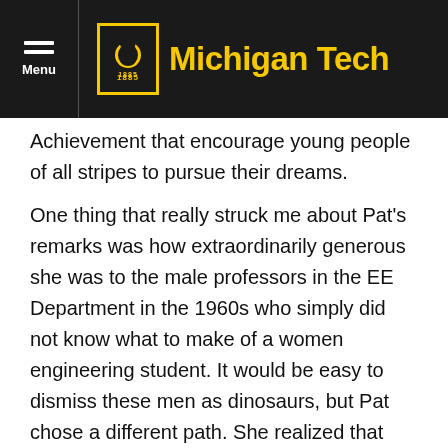Menu | Michigan Tech 1885
Achievement that encourage young people of all stripes to pursue their dreams.
One thing that really struck me about Pat's remarks was how extraordinarily generous she was to the male professors in the EE Department in the 1960s who simply did not know what to make of a women engineering student. It would be easy to dismiss these men as dinosaurs, but Pat chose a different path. She realized that these were men who were raised in an earlier generation by both their fathers and their mothers to treat women in a certain way, and a woman in the engineering classroom was disruptive to their worldview. Pat was able to